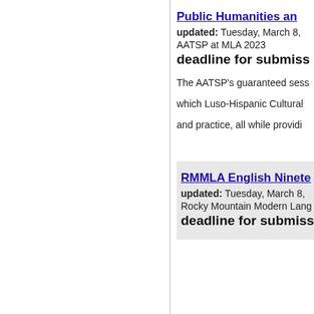Public Humanities an…
updated: Tuesday, March 8,
AATSP at MLA 2023
deadline for submiss…
The AATSP's guaranteed sess…
which Luso-Hispanic Cultural …
and practice, all while providi…
RMMLA English Ninete…
updated: Tuesday, March 8,
Rocky Mountain Modern Lang…
deadline for submiss…